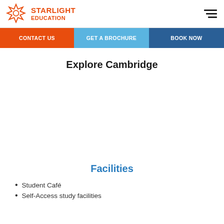STARLIGHT EDUCATION
Explore Cambridge
Facilities
Student Café
Self-Access study facilities